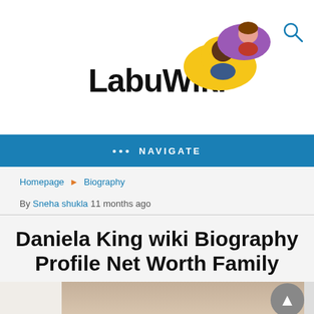[Figure (logo): LabuWiki logo with two chat bubble avatars and a search icon]
••• NAVIGATE
Homepage ▶ Biography
By Sneha shukla 11 months ago
Daniela King wiki Biography Profile Net Worth Family
[Figure (photo): Partial photo of a person, cropped at bottom of page]
[Figure (infographic): Social share buttons: Twitter, Email, Pinterest, LinkedIn, WhatsApp, LINE]